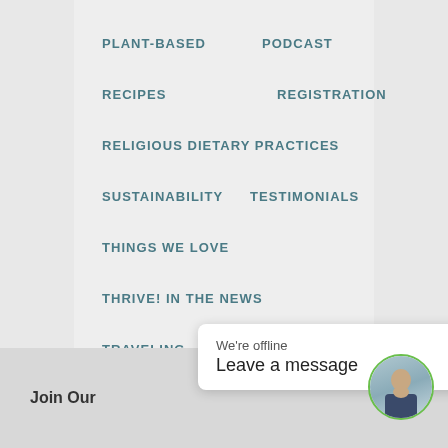PLANT-BASED
PODCAST
RECIPES
REGISTRATION
RELIGIOUS DIETARY PRACTICES
SUSTAINABILITY
TESTIMONIALS
THINGS WE LOVE
THRIVE! IN THE NEWS
TRAVELING
TRENDS
VEGAN & VEGETARIAN
Join Our
We're offline
Leave a message
[Figure (photo): Avatar photo of a woman in a dark blazer with arms crossed, in a circular frame with green border]